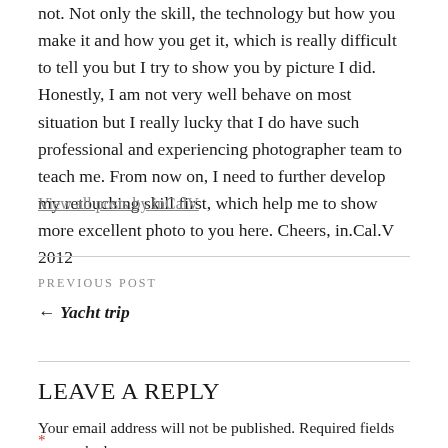not. Not only the skill, the technology but how you make it and how you get it, which is really difficult to tell you but I try to show you by picture I did. Honestly, I am not very well behave on most situation but I really lucky that I do have such professional and experiencing photographer team to teach me. From now on, I need to further develop my retouching skill first, which help me to show more excellent photo to you here. Cheers, in.Cal.V 2012
View all posts by inCalV
PREVIOUS POST
← Yacht trip
LEAVE A REPLY
Your email address will not be published. Required fields are marked *